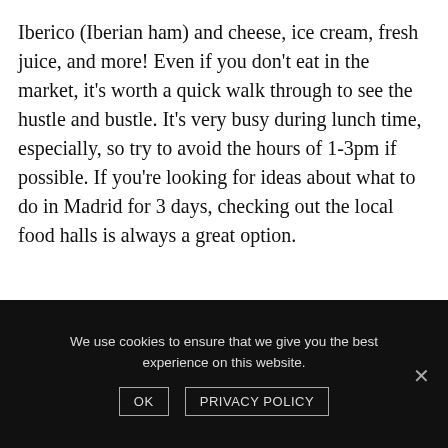Iberico (Iberian ham) and cheese, ice cream, fresh juice, and more! Even if you don't eat in the market, it's worth a quick walk through to see the hustle and bustle. It's very busy during lunch time, especially, so try to avoid the hours of 1-3pm if possible. If you're looking for ideas about what to do in Madrid for 3 days, checking out the local food halls is always a great option.
We use cookies to ensure that we give you the best experience on this website.
OK   PRIVACY POLICY